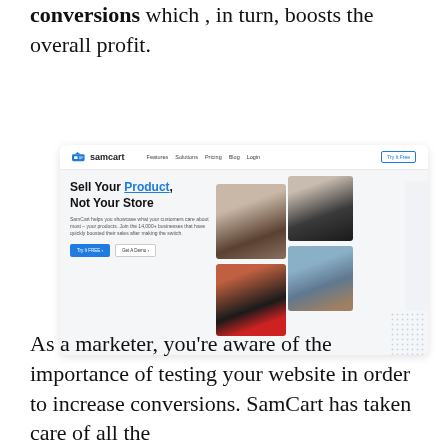conversions which , in turn, boosts the overall profit.
[Figure (screenshot): Screenshot of the SamCart website homepage showing the navigation bar with Features, Solutions, Pricing, Blog, Login, and Try It Free button. The hero section reads 'Sell Your Product, Not Your Store' with a description about SamCart helping businesses boost sales, two CTA buttons (Try It FREE and Get A Demo), and four photos of diverse professionals on the right side.]
As a marketer, you're aware of the importance of testing your website in order to increase conversions. SamCart has taken care of all the